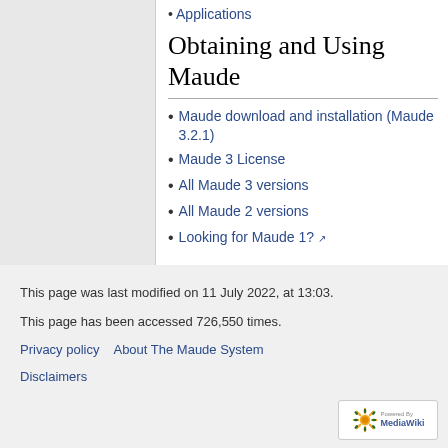Applications
Obtaining and Using Maude
Maude download and installation (Maude 3.2.1)
Maude 3 License
All Maude 3 versions
All Maude 2 versions
Looking for Maude 1?
This page was last modified on 11 July 2022, at 13:03.
This page has been accessed 726,550 times.
Privacy policy   About The Maude System   Disclaimers